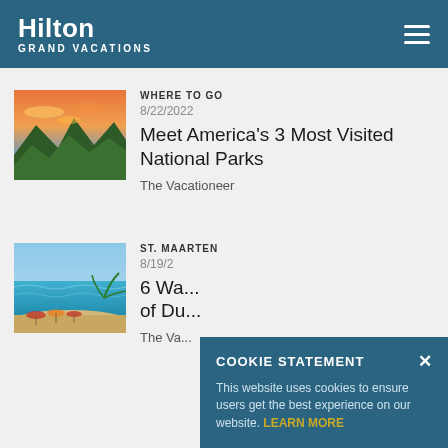Hilton Grand Vacations
WHERE TO GO
8/22/2022
Meet America's 3 Most Visited National Parks
The Vacationeer
[Figure (photo): Sunset over mountain landscape with green forested hills and orange sky]
ST. MAARTEN
8/19/2...
6 Wa... of Du...
The Va...
[Figure (photo): Turquoise beach with umbrellas and calm ocean water]
COOKIE STATEMENT
This website uses cookies to ensure users get the best experience on our website. LEARN MORE